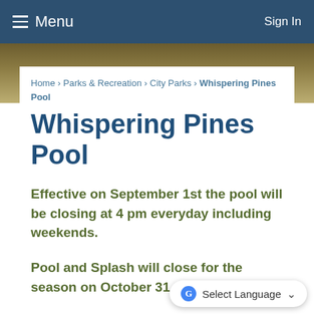≡ Menu    Sign In
Home › Parks & Recreation › City Parks › Whispering Pines Pool
Whispering Pines Pool
Effective on September 1st the pool will be closing at 4 pm everyday including weekends.
Pool and Splash will close for the season on October 31, 2...